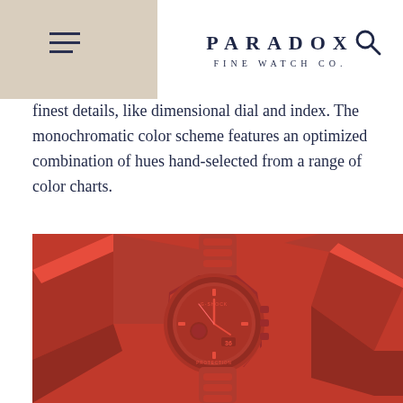PARADOX FINE WATCH CO.
finest details, like dimensional dial and index. The monochromatic color scheme features an optimized combination of hues hand-selected from a range of color charts.
[Figure (photo): A red G-SHOCK watch (GA-2100 series) displayed on red geometric sculptural forms, fully monochromatic red color scheme]